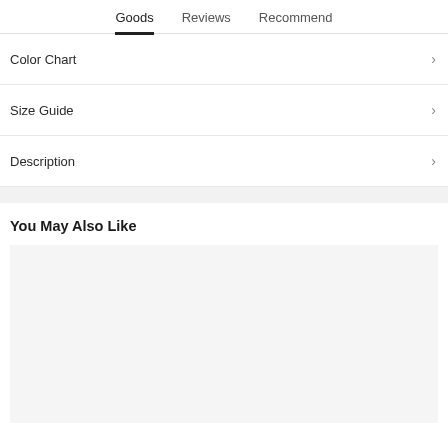Goods   Reviews   Recommend
Color Chart
Size Guide
Description
You May Also Like
[Figure (other): Product image placeholder area, light gray background]